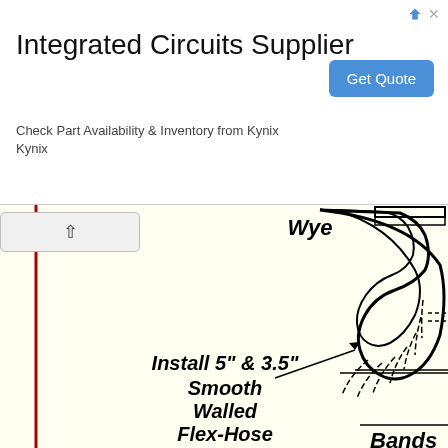[Figure (screenshot): Advertisement banner for Integrated Circuits Supplier - Kynix, with Get Quote button]
Integrated Circuits Supplier
Check Part Availability & Inventory from Kynix
Kynix
[Figure (engineering-diagram): Partial engineering/mechanical diagram showing a curved flex-hose fitting (wye connector) with annotation lines. Bold italic text labels read: 'Wye' at top, 'Install 5" & 3.5" Smooth Walled Flex-Hose' in the middle with a leader line pointing to the fitting, and 'Bands' partially visible at bottom right. The background is cream/off-white with a red left border line.]